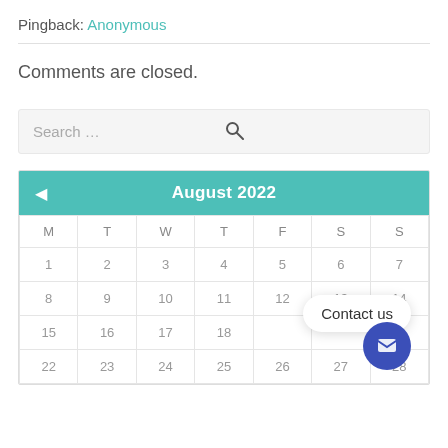Pingback: Anonymous
Comments are closed.
Search ...
| M | T | W | T | F | S | S |
| --- | --- | --- | --- | --- | --- | --- |
| 1 | 2 | 3 | 4 | 5 | 6 | 7 |
| 8 | 9 | 10 | 11 | 12 | 13 | 14 |
| 15 | 16 | 17 | 18 |  |  |  |
| 22 | 23 | 24 | 25 | 26 | 27 | 28 |